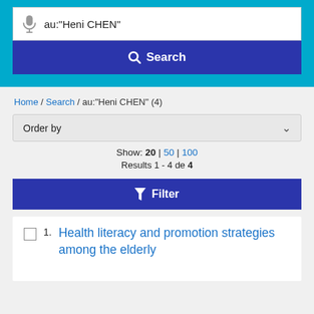au:"Heni CHEN"
Search
Home / Search / au:"Heni CHEN" (4)
Order by
Show: 20 | 50 | 100
Results 1 - 4 de 4
Filter
1. Health literacy and promotion strategies among the elderly